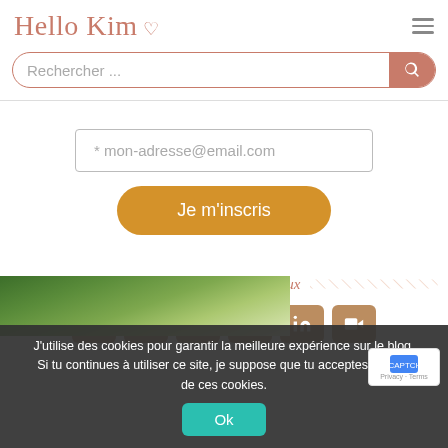Hello Kim ♡
Rechercher ...
* mon-adresse@email.com
Je m'inscris
Me suivre sur les réseaux
[Figure (screenshot): Row of social media icon buttons (Instagram, Pinterest, Facebook, Twitter, and others) with brown/gold rounded square backgrounds]
[Figure (photo): Landscape photo of green rolling hills and fields]
J'utilise des cookies pour garantir la meilleure expérience sur le blog. Si tu continues à utiliser ce site, je suppose que tu acceptes l'usage de ces cookies.
Ok